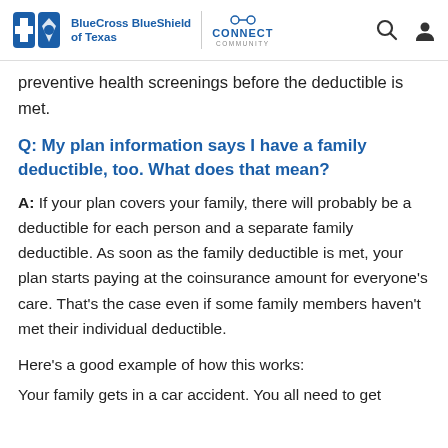BlueCross BlueShield of Texas | CONNECT COMMUNITY
preventive health screenings before the deductible is met.
Q: My plan information says I have a family deductible, too. What does that mean?
A: If your plan covers your family, there will probably be a deductible for each person and a separate family deductible. As soon as the family deductible is met, your plan starts paying at the coinsurance amount for everyone's care. That's the case even if some family members haven't met their individual deductible.
Here's a good example of how this works:
Your family gets in a car accident. You all need to get